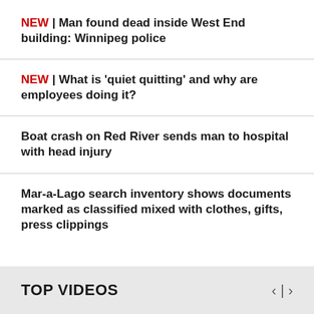NEW | Man found dead inside West End building: Winnipeg police
NEW | What is 'quiet quitting' and why are employees doing it?
Boat crash on Red River sends man to hospital with head injury
Mar-a-Lago search inventory shows documents marked as classified mixed with clothes, gifts, press clippings
TOP VIDEOS